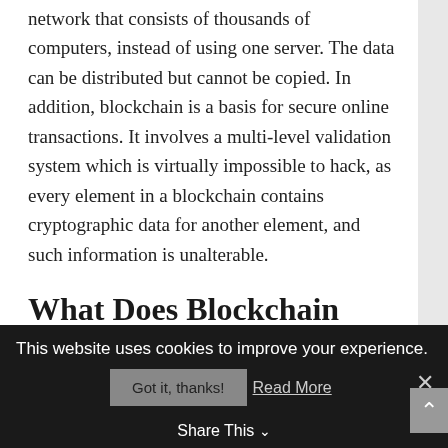network that consists of thousands of computers, instead of using one server. The data can be distributed but cannot be copied. In addition, blockchain is a basis for secure online transactions. It involves a multi-level validation system which is virtually impossible to hack, as every element in a blockchain contains cryptographic data for another element, and such information is unalterable.
What Does Blockchain Mean for Social Media?
First of all, blockchain may solve the biggest problem of the modern social media — privacy.
This website uses cookies to improve your experience.
Got it, thanks!   Read More
Share This